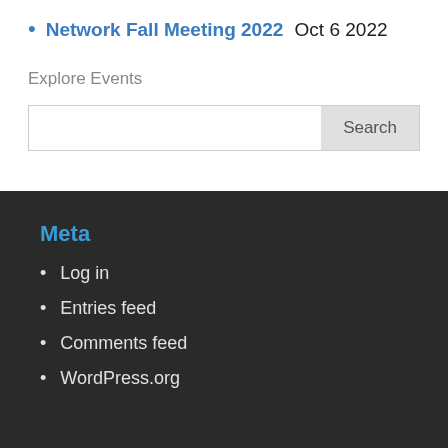Network Fall Meeting 2022 Oct 6 2022
Explore Events
[Figure (other): Search input bar with Search button]
Meta
Log in
Entries feed
Comments feed
WordPress.org